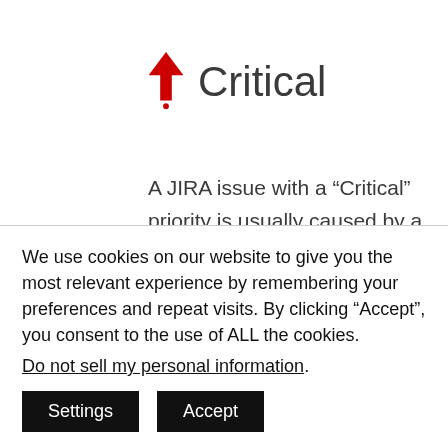Critical
A JIRA issue with a “Critical” priority is usually caused by a bug that is breaking the system builds or preventing TomEE from running properly. Critical JIRA Issues will likely be tackled by experienced TomEE
We use cookies on our website to give you the most relevant experience by remembering your preferences and repeat visits. By clicking “Accept”, you consent to the use of ALL the cookies.
Do not sell my personal information.
Settings  Accept